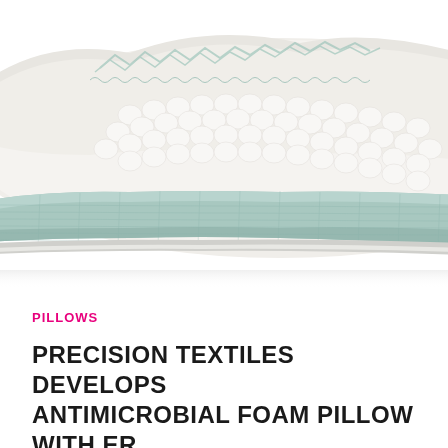[Figure (photo): Close-up photograph of a foam pillow with white textured quilted top surface showing honeycomb/bubble pattern and light teal/mint colored side panel with mesh fabric. The pillow is photographed from a side angle showing its layered construction.]
PILLOWS
PRECISION TEXTILES DEVELOPS ANTIMICROBIAL FOAM PILLOW WITH ER